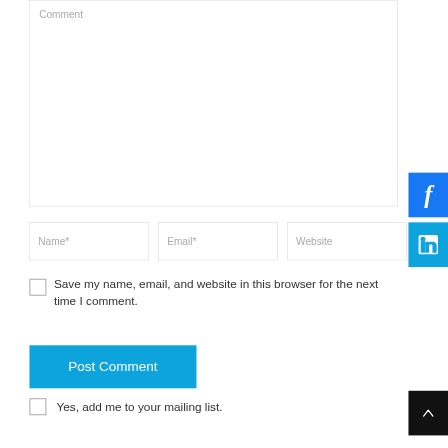Comment
Name*
Email*
Website
Save my name, email, and website in this browser for the next time I comment.
Post Comment
Yes, add me to your mailing list.